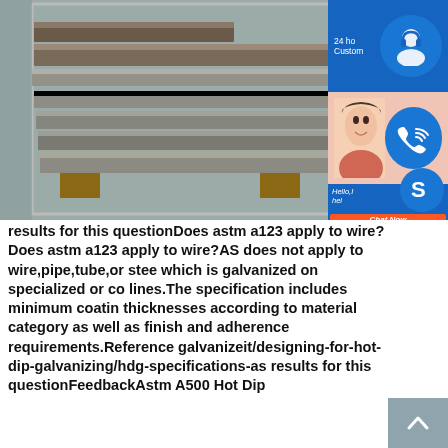[Figure (photo): Stack of steel/galvanized metal sheets or plates on wooden pallets in a warehouse, viewed from the side showing layered edges. Blue customer service sidebar overlay with headset icon, phone icon, Skype icon, Chat Now button visible on right side.]
results for this questionDoes astm a123 apply to wire?Does astm a123 apply to wire?ASTM A123 does not apply to wire,pipe,tube,or steel sheet which is galvanized on specialized or continuous lines.The specification includes minimum coating thicknesses according to material category as well as finish and adherence requirements.Reference galvanizeit/designing-for-hot-dip-galvanizing/hdg-specifications-as results for this questionFeedbackAstm A500 Hot Dipped Galvanized Square Rectangular